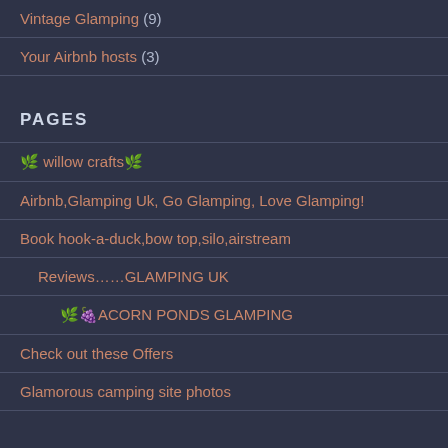Vintage Glamping (9)
Your Airbnb hosts (3)
PAGES
🌿 willow crafts 🌿
Airbnb,Glamping Uk, Go Glamping, Love Glamping!
Book hook-a-duck,bow top,silo,airstream
Reviews……GLAMPING UK
🌿🍇ACORN PONDS GLAMPING
Check out these Offers
Glamorous camping site photos